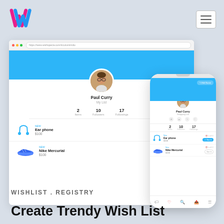Wishlist Registry App Logo and Navigation
[Figure (screenshot): Desktop browser mockup showing a wishlist/registry web app with profile of Paul Curry, stats (2 Items, 10 Followers, 17 Followings), and product listings for Earphone ($100) and Nike Mercurial ($100)]
[Figure (screenshot): Mobile phone mockup showing the same wishlist app with Paul Curry's profile, Shopping List, stats (2, 10, 17), Ear phone listing and Nike Mercurial listing with Got It buttons]
WISHLIST . REGISTRY
Create Trendy Wish List